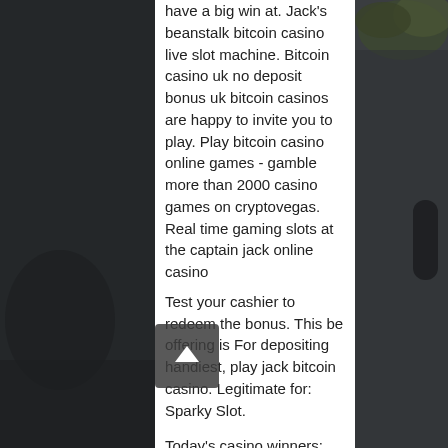[Figure (photo): Dark background photo on the left side, appears to show leather or dark material with a plant visible at top right]
have a big win at. Jack's beanstalk bitcoin casino live slot machine. Bitcoin casino uk no deposit bonus uk bitcoin casinos are happy to invite you to play. Play bitcoin casino online games - gamble more than 2000 casino games on cryptovegas. Real time gaming slots at the captain jack online casino
Test your cashier to redeem the bonus. This be offering is For depositing handiest, play jack bitcoin casino. Legitimate for: Sparky Slot.
Today's casino winners:
Watch the Birdie - 336.4 bch
Fear the Zombies - 605.7 eth
Dragon Kingdom - 221.5 dog
Batman and The Riddler Riches - 119.9 usdt
Golden Shot - 143.2 dog